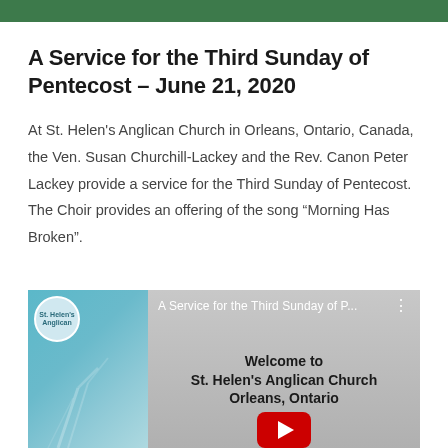A Service for the Third Sunday of Pentecost – June 21, 2020
At St. Helen's Anglican Church in Orleans, Ontario, Canada, the Ven. Susan Churchill-Lackey and the Rev. Canon Peter Lackey provide a service for the Third Sunday of Pentecost. The Choir provides an offering of the song “Morning Has Broken”.
[Figure (screenshot): Video thumbnail for 'A Service for the Third Sunday of P...' showing a church logo circle on a teal background with abstract figure lines, and a grey panel with text: Welcome to St. Helen's Anglican Church Orleans, Ontario, with a red YouTube play button at the bottom.]